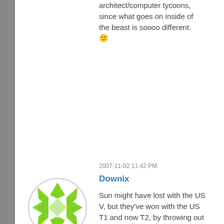architect/computer tycoons, since what goes on inside of the beast is soooo different. 🙂
2007-11-02 11:42 PM
Downix
[Figure (illustration): Green decorative avatar with geometric star/cross pattern in a circle]
Sun might have lost with the US V, but they've won with the US T1 and now T2, by throwing out the rulebook that the other manufacturers including AMD and Intel have stuck to since the mid-80's. Fuji is rolling CPU's of the same form now as well. Now new